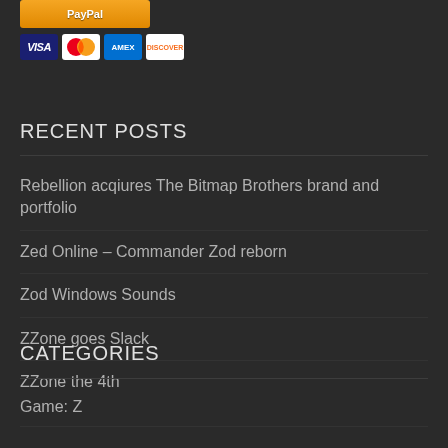[Figure (other): Payment button and credit card icons (Visa, Mastercard, Amex, Discover) at top of page]
RECENT POSTS
Rebellion acqiures The Bitmap Brothers brand and portfolio
Zed Online – Commander Zod reborn
Zod Windows Sounds
ZZone goes Slack
ZZone the 4th
CATEGORIES
Game: Z